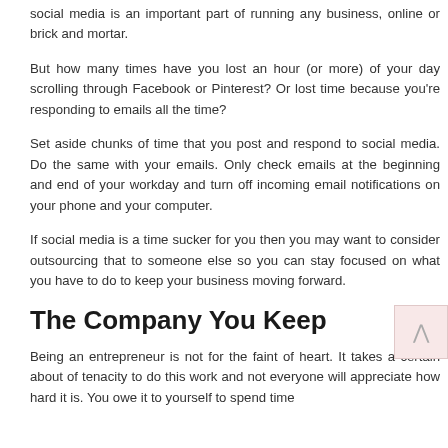social media is an important part of running any business, online or brick and mortar.
But how many times have you lost an hour (or more) of your day scrolling through Facebook or Pinterest? Or lost time because you're responding to emails all the time?
Set aside chunks of time that you post and respond to social media. Do the same with your emails. Only check emails at the beginning and end of your workday and turn off incoming email notifications on your phone and your computer.
If social media is a time sucker for you then you may want to consider outsourcing that to someone else so you can stay focused on what you have to do to keep your business moving forward.
The Company You Keep
Being an entrepreneur is not for the faint of heart. It takes a certain about of tenacity to do this work and not everyone will appreciate how hard it is. You owe it to yourself to spend time